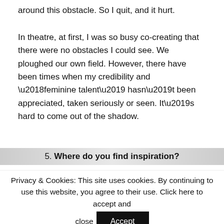around this obstacle. So I quit, and it hurt.
In theatre, at first, I was so busy co-creating that there were no obstacles I could see. We ploughed our own field. However, there have been times when my credibility and ‘feminine talent’ hasn’t been appreciated, taken seriously or seen. It’s hard to come out of the shadow.
5. Where do you find inspiration?
Privacy & Cookies: This site uses cookies. By continuing to use this website, you agree to their use. Click here to accept and close
Accept
To find out more, including how to control cookies, see here:
Read More